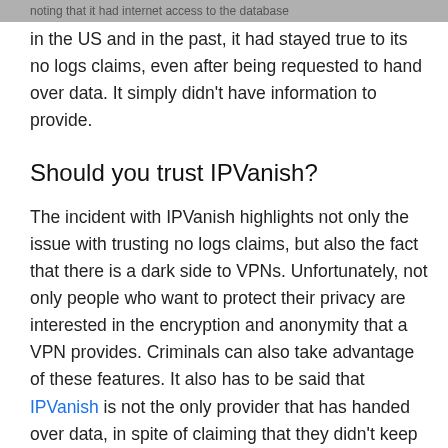noting that it had internet access to the database in the US and in the past, it had stayed true to its no logs claims, even after being requested to hand over data. It simply didn't have information to provide.
Should you trust IPVanish?
The incident with IPVanish highlights not only the issue with trusting no logs claims, but also the fact that there is a dark side to VPNs. Unfortunately, not only people who want to protect their privacy are interested in the encryption and anonymity that a VPN provides. Criminals can also take advantage of these features. It also has to be said that IPVanish is not the only provider that has handed over data, in spite of claiming that they didn't keep logs.